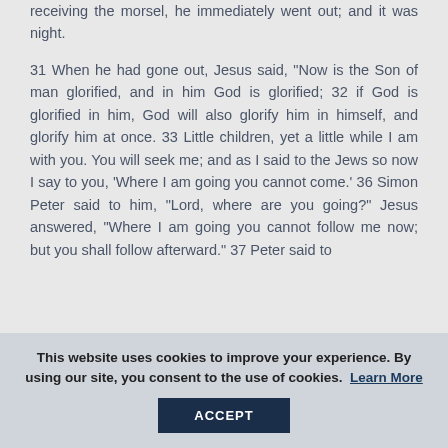receiving the morsel, he immediately went out; and it was night.
31 When he had gone out, Jesus said, "Now is the Son of man glorified, and in him God is glorified; 32 if God is glorified in him, God will also glorify him in himself, and glorify him at once. 33 Little children, yet a little while I am with you. You will seek me; and as I said to the Jews so now I say to you, 'Where I am going you cannot come.' 36 Simon Peter said to him, "Lord, where are you going?" Jesus answered, "Where I am going you cannot follow me now; but you shall follow afterward." 37 Peter said to
This website uses cookies to improve your experience. By using our site, you consent to the use of cookies. Learn More ACCEPT